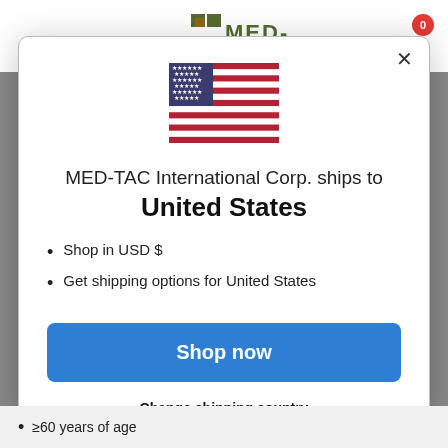[Figure (screenshot): MED-TAC website header with logo and shopping cart badge showing 0 items]
[Figure (illustration): United States flag emoji/icon]
MED-TAC International Corp. ships to
United States
Shop in USD $
Get shipping options for United States
Shop now
Change shipping country
≥60 years of age